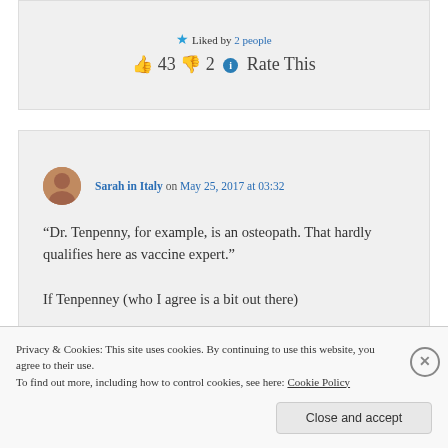★ Liked by 2 people
👍 43 👎 2 ℹ Rate This
Sarah in Italy on May 25, 2017 at 03:32
“Dr. Tenpenny, for example, is an osteopath. That hardly qualifies here as vaccine expert.”

If Tenpenney (who I agree is a bit out there)
Privacy & Cookies: This site uses cookies. By continuing to use this website, you agree to their use.
To find out more, including how to control cookies, see here: Cookie Policy
Close and accept